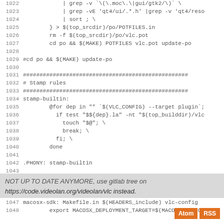1022-1048: Makefile code lines showing grep, sort, pot file generation, stamp-builtin target, .PHONY, and macosx-sdk rules
NOT UP TO DATE ANYMORE, use gitlab tree on
https://code.videolan.org/videolan/vlc instead.
Atom | RSS